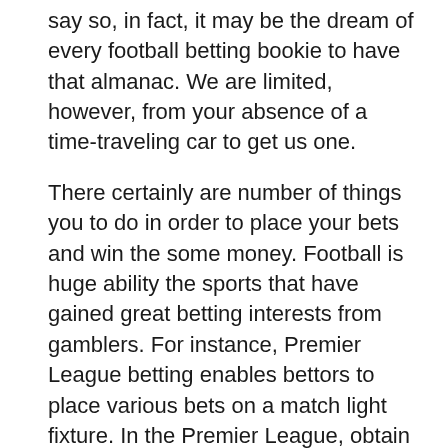say so, in fact, it may be the dream of every football betting bookie to have that almanac. We are limited, however, from your absence of a time-traveling car to get us one.
There certainly are number of things you to do in order to place your bets and win the some money. Football is huge ability the sports that have gained great betting interests from gamblers. For instance, Premier League betting enables bettors to place various bets on a match light fixture. In the Premier League, obtain place bets on goals to be scored with a specific period, for instance, the first half in the match taking place. You may place bets on the golfer to score most milestones. More so, might bet upon the Football live scores team to win a